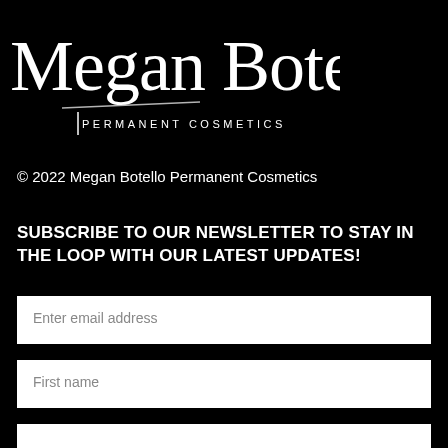[Figure (logo): Megan Botello Permanent Cosmetics logo — stylized white handwritten script 'Megan Botello' with 'PERMANENT COSMETICS' in small caps below, on black background]
© 2022 Megan Botello Permanent Cosmetics
SUBSCRIBE TO OUR NEWSLETTER TO STAY IN THE LOOP WITH OUR LATEST UPDATES!
Enter email address
First name